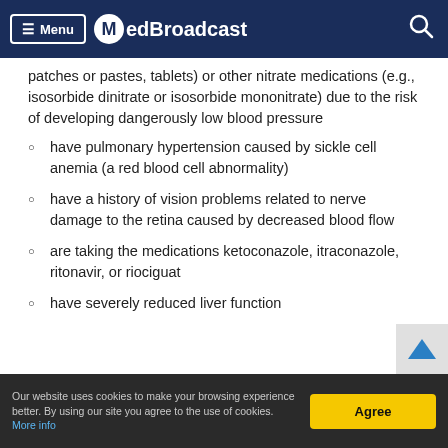Menu | MedBroadcast
patches or pastes, tablets) or other nitrate medications (e.g., isosorbide dinitrate or isosorbide mononitrate) due to the risk of developing dangerously low blood pressure
have pulmonary hypertension caused by sickle cell anemia (a red blood cell abnormality)
have a history of vision problems related to nerve damage to the retina caused by decreased blood flow
are taking the medications ketoconazole, itraconazole, ritonavir, or riociguat
have severely reduced liver function
Our website uses cookies to make your browsing experience better. By using our site you agree to the use of cookies. More info | Agree